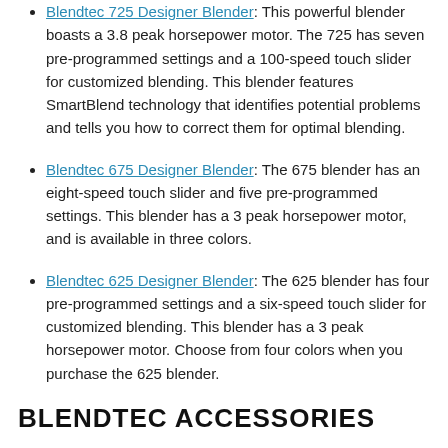Blendtec 725 Designer Blender: This powerful blender boasts a 3.8 peak horsepower motor. The 725 has seven pre-programmed settings and a 100-speed touch slider for customized blending. This blender features SmartBlend technology that identifies potential problems and tells you how to correct them for optimal blending.
Blendtec 675 Designer Blender: The 675 blender has an eight-speed touch slider and five pre-programmed settings. This blender has a 3 peak horsepower motor, and is available in three colors.
Blendtec 625 Designer Blender: The 625 blender has four pre-programmed settings and a six-speed touch slider for customized blending. This blender has a 3 peak horsepower motor. Choose from four colors when you purchase the 625 blender.
BLENDTEC ACCESSORIES
Blendtec Twister Jar: Perfect for blending thicker foods, this 37 ounce jar easily snaps onto your Blendtec blender. The Twister